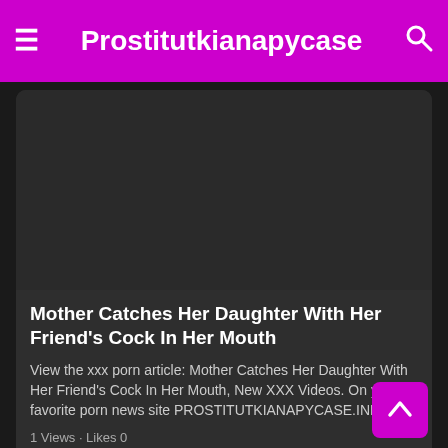Prostitutkianapycase
[Figure (photo): Dark thumbnail image for article]
Mother Catches Her Daughter With Her Friend's Cock In Her Mouth
View the xxx porn article: Mother Catches Her Daughter With Her Friend's Cock In Her Mouth, New XXX Videos. On your favorite porn news site PROSTITUTKIANAPYCASE.INFO!
1 Views · Likes 0
[Figure (photo): Second article thumbnail — black image, partially visible]